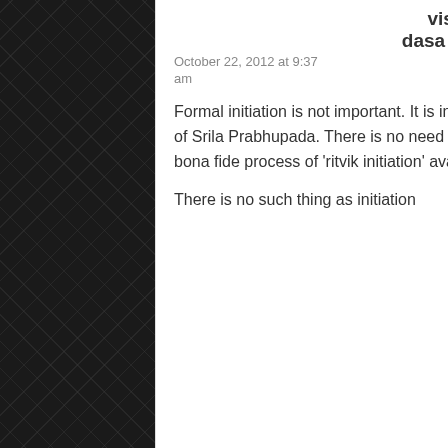visa dasa
says: October 22, 2012 at 9:37 am
Formal initiation is not important. It is important to actually become a disciple of Srila Prabhupada. There is no need for formal initiation, nor is there any bona fide process of 'ritvik initiation' available.
There is no such thing as initiation